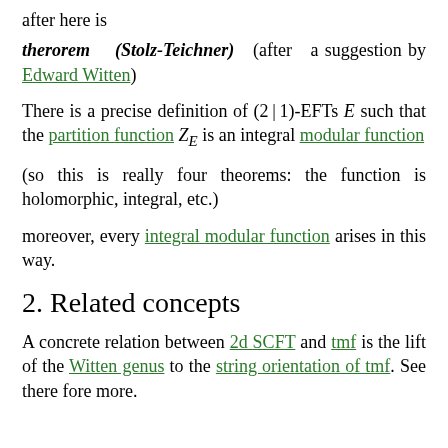after here is
therorem (Stolz-Teichner) (after a suggestion by Edward Witten)
There is a precise definition of (2|1)-EFTs E such that the partition function Z_E is an integral modular function
(so this is really four theorems: the function is holomorphic, integral, etc.)
moreover, every integral modular function arises in this way.
2. Related concepts
A concrete relation between 2d SCFT and tmf is the lift of the Witten genus to the string orientation of tmf. See there fore more.